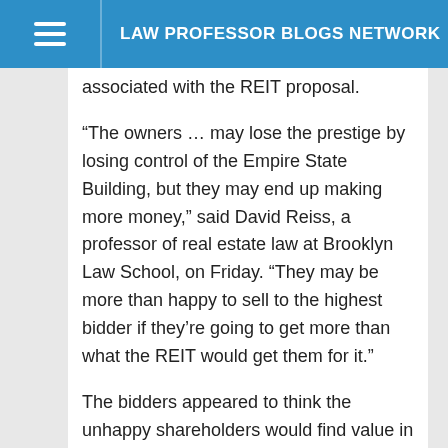LAW PROFESSOR BLOGS NETWORK
associated with the REIT proposal.
“The owners … may lose the prestige by losing control of the Empire State Building, but they may end up making more money,” said David Reiss, a professor of real estate law at Brooklyn Law School, on Friday. “They may be more than happy to sell to the highest bidder if they’re going to get more than what the REIT would get them for it.”
The bidders appeared to think the unhappy shareholders would find value in their offers as well.
In connection with his bid, Schron agreed to enter into a contract with Malkin with a $50 million nonrefundable deposit immediately and to close the all-cash deal in 90 days. As part of the deal, investors would be able to choose to remain invested in the building and receive a membership